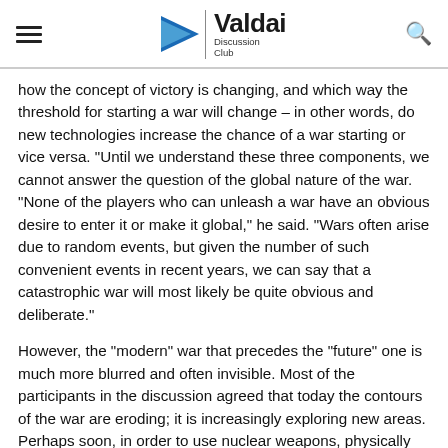Valdai Discussion Club
how the concept of victory is changing, and which way the threshold for starting a war will change – in other words, do new technologies increase the chance of a war starting or vice versa. "Until we understand these three components, we cannot answer the question of the global nature of the war. "None of the players who can unleash a war have an obvious desire to enter it or make it global," he said. "Wars often arise due to random events, but given the number of such convenient events in recent years, we can say that a catastrophic war will most likely be quite obvious and deliberate."
However, the "modern" war that precedes the "future" one is much more blurred and often invisible. Most of the participants in the discussion agreed that today the contours of the war are eroding; it is increasingly exploring new areas. Perhaps soon, in order to use nuclear weapons, physically possessing them will not be necessary, the moderator noted in conclusion. However, this is one of those factors that you may need to think about,